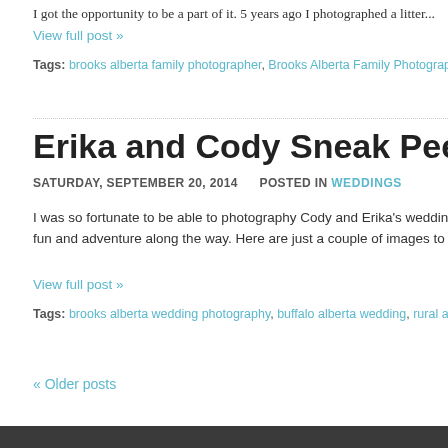I got the opportunity to be a part of it. 5 years ago I photographed a litter...
View full post »
Tags: brooks alberta family photographer, Brooks Alberta Family Photography, brooks...
Erika and Cody Sneak Peek :: Buffalo...
SATURDAY, SEPTEMBER 20, 2014   POSTED IN WEDDINGS
I was so fortunate to be able to photography Cody and Erika's wedding a fun and adventure along the way. Here are just a couple of images to tea...
View full post »
Tags: brooks alberta wedding photography, buffalo alberta wedding, rural alberta wed...
« Older posts